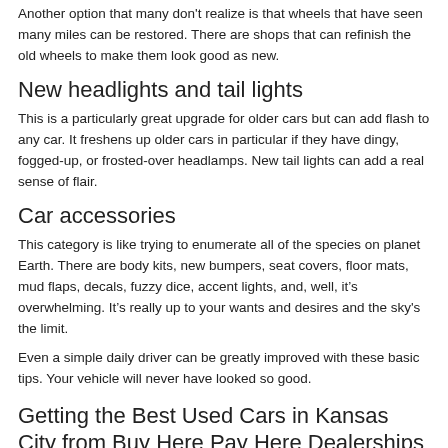Another option that many don't realize is that wheels that have seen many miles can be restored. There are shops that can refinish the old wheels to make them look good as new.
New headlights and tail lights
This is a particularly great upgrade for older cars but can add flash to any car. It freshens up older cars in particular if they have dingy, fogged-up, or frosted-over headlamps. New tail lights can add a real sense of flair.
Car accessories
This category is like trying to enumerate all of the species on planet Earth. There are body kits, new bumpers, seat covers, floor mats, mud flaps, decals, fuzzy dice, accent lights, and, well, it’s overwhelming. It’s really up to your wants and desires and the sky's the limit.
Even a simple daily driver can be greatly improved with these basic tips. Your vehicle will never have looked so good.
Getting the Best Used Cars in Kansas City from Buy Here Pay Here Dealerships